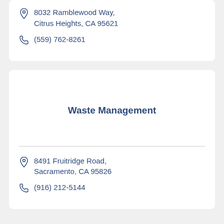8032 Ramblewood Way, Citrus Heights, CA 95621
(559) 762-8261
Waste Management
8491 Fruitridge Road, Sacramento, CA 95826
(916) 212-5144